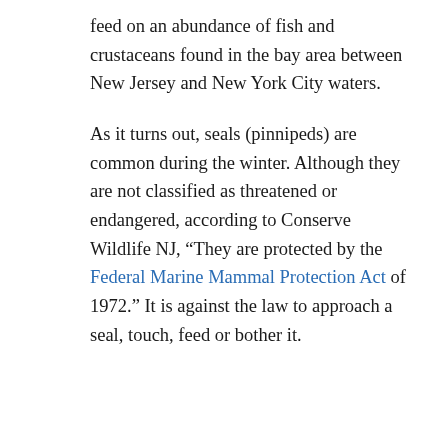feed on an abundance of fish and crustaceans found in the bay area between New Jersey and New York City waters.
As it turns out, seals (pinnipeds) are common during the winter. Although they are not classified as threatened or endangered, according to Conserve Wildlife NJ, “They are protected by the Federal Marine Mammal Protection Act of 1972.” It is against the law to approach a seal, touch, feed or bother it.